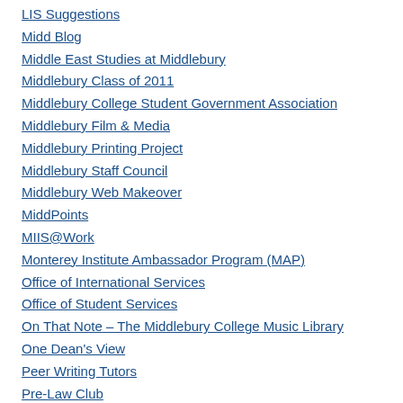LIS Suggestions
Midd Blog
Middle East Studies at Middlebury
Middlebury Class of 2011
Middlebury College Student Government Association
Middlebury Film & Media
Middlebury Printing Project
Middlebury Staff Council
Middlebury Web Makeover
MiddPoints
MIIS@Work
Monterey Institute Ambassador Program (MAP)
Office of International Services
Office of Student Services
On That Note – The Middlebury College Music Library
One Dean's View
Peer Writing Tutors
Pre-Law Club